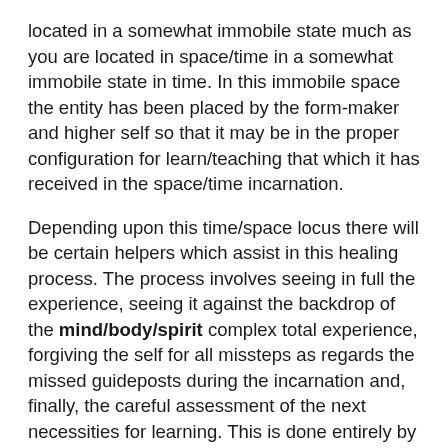located in a somewhat immobile state much as you are located in space/time in a somewhat immobile state in time. In this immobile space the entity has been placed by the form-maker and higher self so that it may be in the proper configuration for learn/teaching that which it has received in the space/time incarnation.
Depending upon this time/space locus there will be certain helpers which assist in this healing process. The process involves seeing in full the experience, seeing it against the backdrop of the mind/body/spirit complex total experience, forgiving the self for all missteps as regards the missed guideposts during the incarnation and, finally, the careful assessment of the next necessities for learning. This is done entirely by the higher self until an entity has become conscious in space/time of the process and means of spiritual evolution at which time the entity will consciously